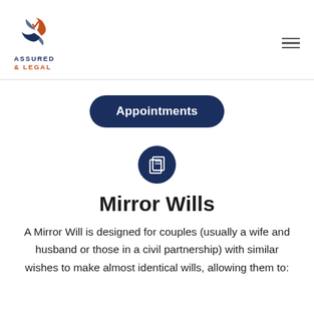[Figure (logo): Assured & Legal logo with pinwheel graphic in blue and orange]
Appointments
[Figure (illustration): Dark blue circle icon with two overlapping document pages]
Mirror Wills
A Mirror Will is designed for couples (usually a wife and husband or those in a civil partnership) with similar wishes to make almost identical wills, allowing them to: